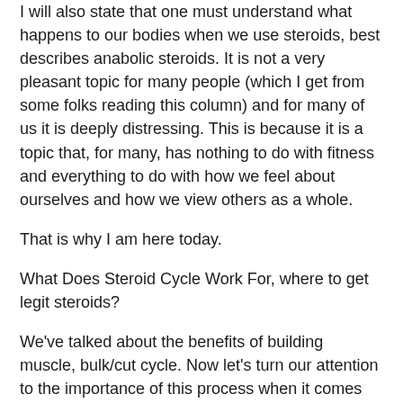I will also state that one must understand what happens to our bodies when we use steroids, best describes anabolic steroids. It is not a very pleasant topic for many people (which I get from some folks reading this column) and for many of us it is deeply distressing. This is because it is a topic that, for many, has nothing to do with fitness and everything to do with how we feel about ourselves and how we view others as a whole.
That is why I am here today.
What Does Steroid Cycle Work For, where to get legit steroids?
We've talked about the benefits of building muscle, bulk/cut cycle. Now let's turn our attention to the importance of this process when it comes time to build muscle again, anabolic steroids meaning in hindi.